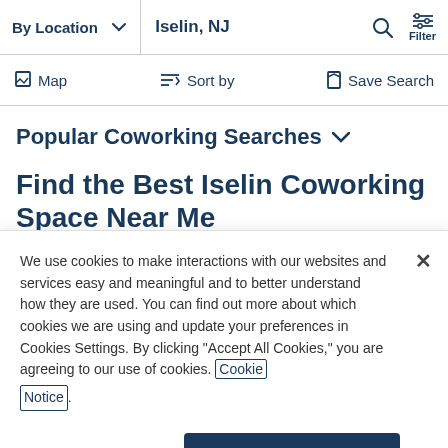By Location   Iselin, NJ   Filter
Map   Sort by   Save Search
Popular Coworking Searches
Find the Best Iselin Coworking Space Near Me
We use cookies to make interactions with our websites and services easy and meaningful and to better understand how they are used. You can find out more about which cookies we are using and update your preferences in Cookies Settings. By clicking "Accept All Cookies," you are agreeing to our use of cookies. Cookie Notice
Cookies Settings   Accept All Cookies